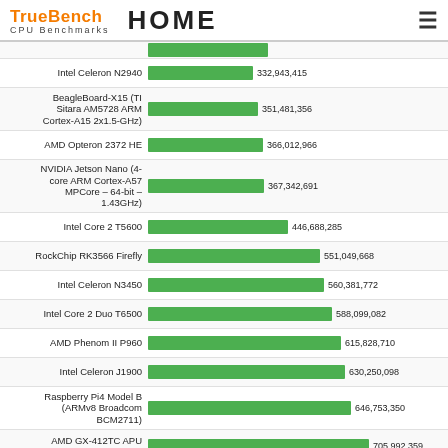TrueBench CPU Benchmarks HOME
[Figure (bar-chart): CPU Benchmarks]